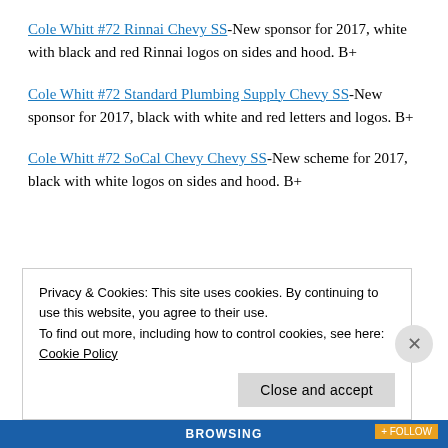Cole Whitt #72 Rinnai Chevy SS-New sponsor for 2017, white with black and red Rinnai logos on sides and hood. B+
Cole Whitt #72 Standard Plumbing Supply Chevy SS-New sponsor for 2017, black with white and red letters and logos. B+
Cole Whitt #72 SoCal Chevy Chevy SS-New scheme for 2017, black with white logos on sides and hood. B+
Privacy & Cookies: This site uses cookies. By continuing to use this website, you agree to their use. To find out more, including how to control cookies, see here: Cookie Policy